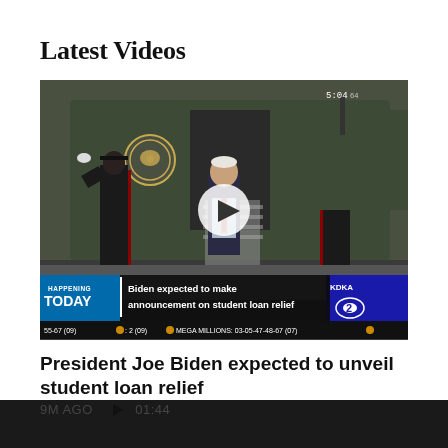Latest Videos
[Figure (screenshot): Video thumbnail of President Biden standing in front of Marine One helicopter flanked by two Marines in dress uniform. A play button is overlaid in the center. The lower third shows 'HAPPENING TODAY | Biden expected to make announcement on student loan relief' with KDKA CBS2 logo and lottery numbers ticker. Timestamp reads 5:04:64.]
President Joe Biden expected to unveil student loan relief
9M AGO  ► 01:44